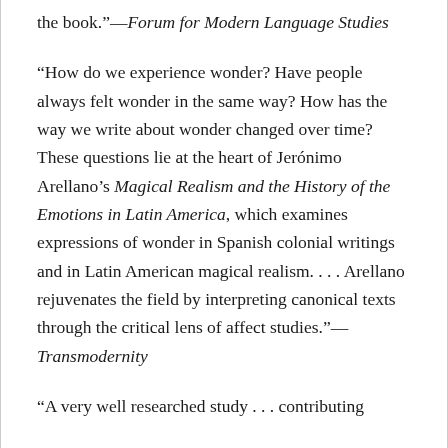the book.”—Forum for Modern Language Studies
“How do we experience wonder? Have people always felt wonder in the same way? How has the way we write about wonder changed over time? These questions lie at the heart of Jerónimo Arellano’s Magical Realism and the History of the Emotions in Latin America, which examines expressions of wonder in Spanish colonial writings and in Latin American magical realism. . . . Arellano rejuvenates the field by interpreting canonical texts through the critical lens of affect studies.”—Transmodernity
“A very well researched study . . . contributing